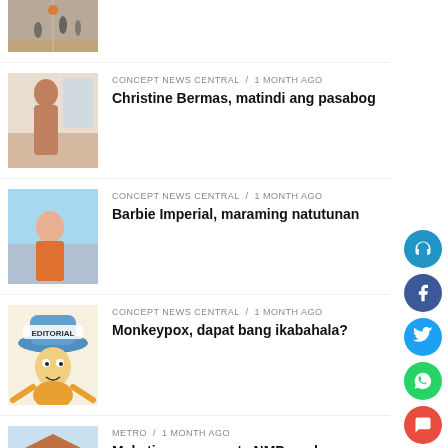[Figure (photo): Sports/basketball photo thumbnail (partial, top cropped)]
CONCEPT NEWS CENTRAL / 1 month ago — Christine Bermas, matindi ang pasabog
CONCEPT NEWS CENTRAL / 1 month ago — Barbie Imperial, maraming natutunan
CONCEPT NEWS CENTRAL / 1 month ago — Monkeypox, dapat bang ikabahala?
METRO / 1 month ago — Makati museum gets NMP marker
NATION / 1 month ago — Army lends hand to quake-hit areas